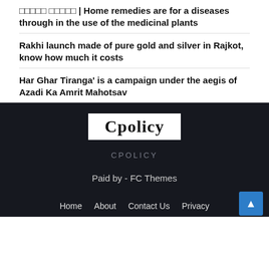????? ????? | Home remedies are for a diseases through in the use of the medicinal plants
Rakhi launch made of pure gold and silver in Rajkot, know how much it costs
Har Ghar Tiranga' is a campaign under the aegis of Azadi Ka Amrit Mahotsav
[Figure (logo): Cpolicy logo in black bold serif font on white background]
CPOLICY
Paid by - FC Themes
Home   About   Contact Us   Privacy